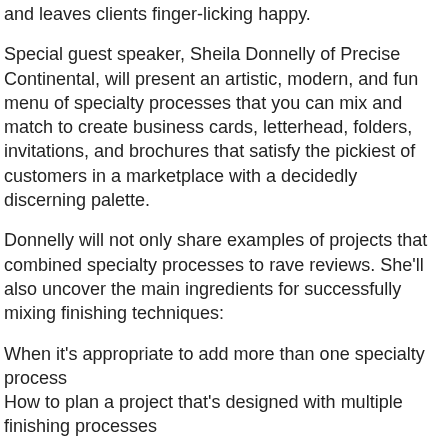and leaves clients finger-licking happy.
Special guest speaker, Sheila Donnelly of Precise Continental, will present an artistic, modern, and fun menu of specialty processes that you can mix and match to create business cards, letterhead, folders, invitations, and brochures that satisfy the pickiest of customers in a marketplace with a decidedly discerning palette.
Donnelly will not only share examples of projects that combined specialty processes to rave reviews. She'll also uncover the main ingredients for successfully mixing finishing techniques:
When it's appropriate to add more than one specialty process
How to plan a project that's designed with multiple finishing processes